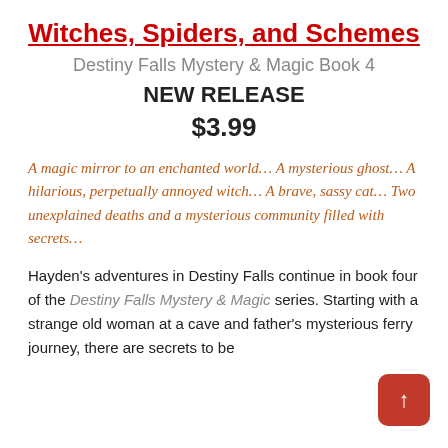Witches, Spiders, and Schemes
Destiny Falls Mystery & Magic Book 4
NEW RELEASE
$3.99
A magic mirror to an enchanted world… A mysterious ghost… A hilarious, perpetually annoyed witch… A brave, sassy cat… Two unexplained deaths and a mysterious community filled with secrets…
Hayden's adventures in Destiny Falls continue in book four of the Destiny Falls Mystery & Magic series. Starting with a strange old woman at a cave and father's mysterious ferry journey, there are secrets to be